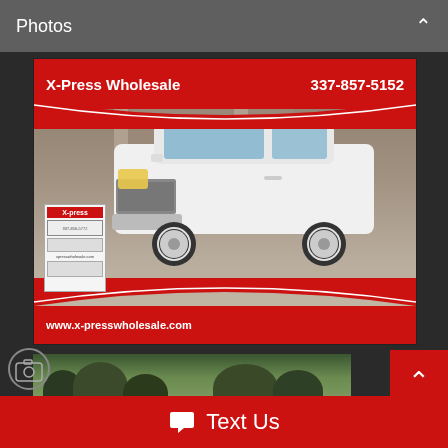Photos
[Figure (photo): White Chevrolet Silverado crew cab truck photographed at X-Press Wholesale dealership. Red banner at top reads 'X-Press Wholesale' and '337-857-5152'. Bottom banner shows 'www.x-presswholesale.com'.]
[Figure (photo): Second photo strip showing outdoor scene with trees, partially visible.]
Text Us